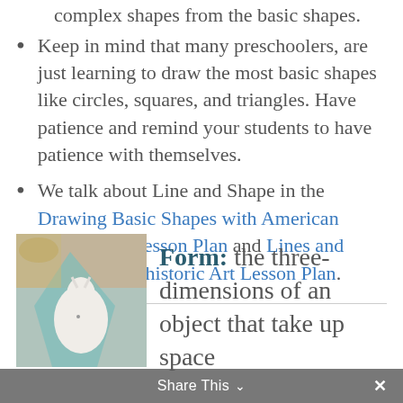complex shapes from the basic shapes.
Keep in mind that many preschoolers, are just learning to draw the most basic shapes like circles, squares, and triangles. Have patience and remind your students to have patience with themselves.
We talk about Line and Shape in the Drawing Basic Shapes with American Landmarks Lesson Plan and Lines and Shapes in Prehistoric Art Lesson Plan.
[Figure (photo): Photo of a white bird or animal sculpture with teal/green geometric shapes in the background, on a wooden surface]
Form: the three-dimensions of an object that take up space